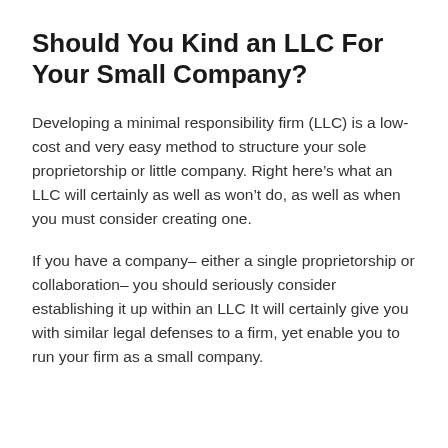Should You Kind an LLC For Your Small Company?
Developing a minimal responsibility firm (LLC) is a low-cost and very easy method to structure your sole proprietorship or little company. Right here’s what an LLC will certainly as well as won’t do, as well as when you must consider creating one.
If you have a company– either a single proprietorship or collaboration– you should seriously consider establishing it up within an LLC It will certainly give you with similar legal defenses to a firm, yet enable you to run your firm as a small company.